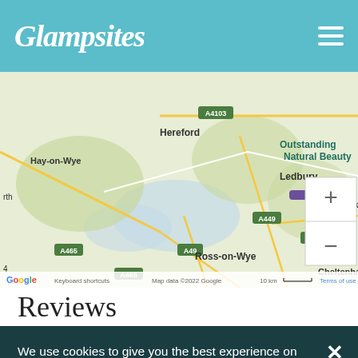Glampsites
[Figure (map): Google Maps view showing Hereford, Ross-on-Wye, Ledbury, Hay-on-Wye, Tewkesbury, Cheltenham area with road labels A4103, A465, A449, A49, A417, M50 and 'Outstanding Natural Beauty' label. Includes zoom controls (+/-). Google attribution and 'Map data ©2022 Google 10 km' footer.]
Reviews
We use cookies to give you the best experience on our website. By continuing to use our website without changing your cookie settings, you agree to our use of cookies in accordance with our updated Cookie Policy. We have also updated our Privacy Policy to reflect changes in data protection law.